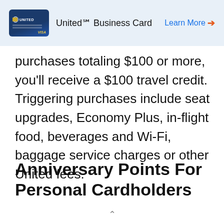[Figure (other): United Business Card credit card image with header bar showing card art and Learn More link]
purchases totaling $100 or more, you'll receive a $100 travel credit. Triggering purchases include seat upgrades, Economy Plus, in-flight food, beverages and Wi-Fi, baggage service charges or other United fees.
Anniversary Points For Personal Cardholders